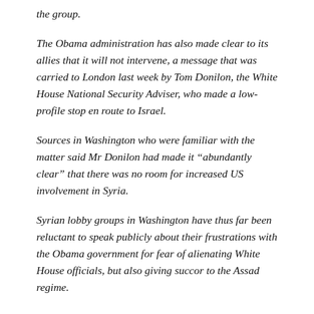the group.
The Obama administration has also made clear to its allies that it will not intervene, a message that was carried to London last week by Tom Donilon, the White House National Security Adviser, who made a low-profile stop en route to Israel.
Sources in Washington who were familiar with the matter said Mr Donilon had made it “abundantly clear” that there was no room for increased US involvement in Syria.
Syrian lobby groups in Washington have thus far been reluctant to speak publicly about their frustrations with the Obama government for fear of alienating White House officials, but also giving succor to the Assad regime.